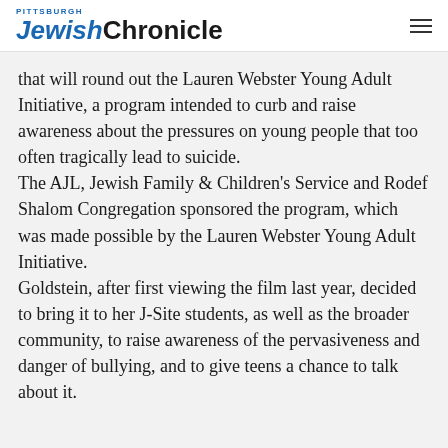Pittsburgh JewishChronicle
that will round out the Lauren Webster Young Adult Initiative, a program intended to curb and raise awareness about the pressures on young people that too often tragically lead to suicide.
The AJL, Jewish Family & Children's Service and Rodef Shalom Congregation sponsored the program, which was made possible by the Lauren Webster Young Adult Initiative.
Goldstein, after first viewing the film last year, decided to bring it to her J-Site students, as well as the broader community, to raise awareness of the pervasiveness and danger of bullying, and to give teens a chance to talk about it.